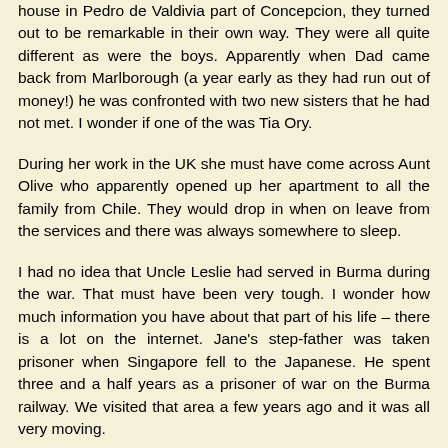house in Pedro de Valdivia part of Concepcion, they turned out to be remarkable in their own way. They were all quite different as were the boys. Apparently when Dad came back from Marlborough (a year early as they had run out of money!) he was confronted with two new sisters that he had not met. I wonder if one of the was Tia Ory.
During her work in the UK she must have come across Aunt Olive who apparently opened up her apartment to all the family from Chile. They would drop in when on leave from the services and there was always somewhere to sleep.
I had no idea that Uncle Leslie had served in Burma during the war. That must have been very tough. I wonder how much information you have about that part of his life – there is a lot on the internet. Jane's step-father was taken prisoner when Singapore fell to the Japanese. He spent three and a half years as a prisoner of war on the Burma railway. We visited that area a few years ago and it was all very moving.
Bueno Primos, we hope to be out in Chile for 3 weeks from